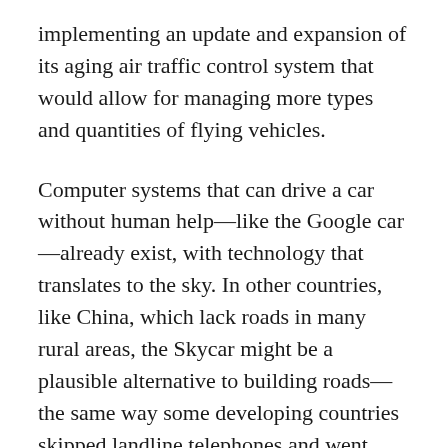implementing an update and expansion of its aging air traffic control system that would allow for managing more types and quantities of flying vehicles.
Computer systems that can drive a car without human help—like the Google car—already exist, with technology that translates to the sky. In other countries, like China, which lack roads in many rural areas, the Skycar might be a plausible alternative to building roads—the same way some developing countries skipped landline telephones and went straight to cells. Even in bustling Chinese cities, congestion and overcrowding are making road travel difficult. In 2010, a traffic jam on a major highway near